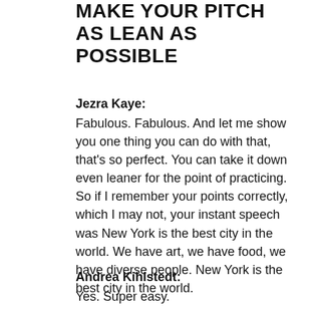MAKE YOUR PITCH AS LEAN AS POSSIBLE
Jezra Kaye:
Fabulous. Fabulous. And let me show you one thing you can do with that, that's so perfect. You can take it down even leaner for the point of practicing. So if I remember your points correctly, which I may not, your instant speech was New York is the best city in the world. We have art, we have food, we have diverse people. New York is the best city in the world.
Andrea Kihlstedt:
Yes. Super easy.